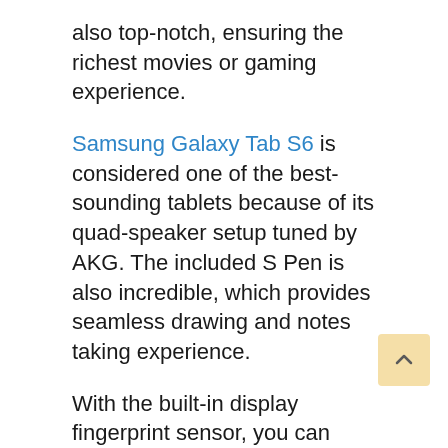also top-notch, ensuring the richest movies or gaming experience.
Samsung Galaxy Tab S6 is considered one of the best-sounding tablets because of its quad-speaker setup tuned by AKG. The included S Pen is also incredible, which provides seamless drawing and notes taking experience.
With the built-in display fingerprint sensor, you can unlock this tablet smartly and quickly. Moreover, if we talk about the camera quality, it's also mind-blowing. You can take stunning images or make high-quality videos calls.
Altogether, this tablet ensures the richest